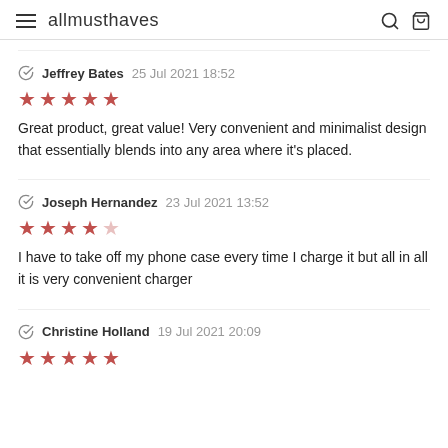allmusthaves
Jeffrey Bates 25 Jul 2021 18:52 ★★★★★ Great product, great value! Very convenient and minimalist design that essentially blends into any area where it's placed.
Joseph Hernandez 23 Jul 2021 13:52 ★★★★☆ I have to take off my phone case every time I charge it but all in all it is very convenient charger
Christine Holland 19 Jul 2021 20:09 ★★★★★